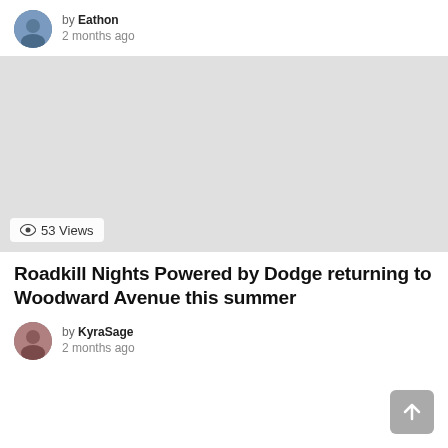by Eathon
2 months ago
[Figure (photo): Large gray placeholder image/video thumbnail]
53 Views
Roadkill Nights Powered by Dodge returning to Woodward Avenue this summer
by KyraSage
2 months ago